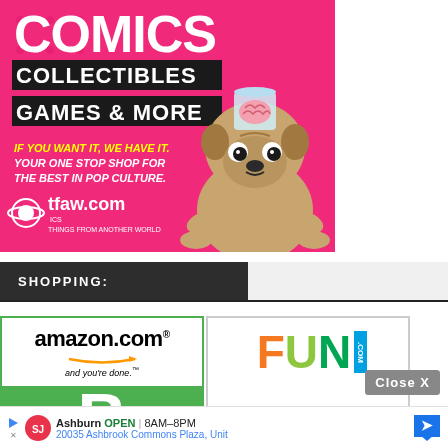[Figure (advertisement): TFAW.com advertisement with pink background, cartoon pug dog with brain on head, text: COMICS COLLECTIBLES GAMES & MORE, IF YOU WANT IT, WE HAVE IT. YOUR ONE STOP SHOP FOR THE BEST IN POP CULTURE. tfaw.com THINGS FROM ANOTHER WORLD]
SHOPPING:
[Figure (advertisement): Amazon.com 'and you're done' ad with green background and Amazon logo]
[Figure (advertisement): FUN.com advertisement with colorful FUN logo]
Close X
Ashburn OPEN 8AM–8PM 20035 Ashbrook Commons Plaza, Unit